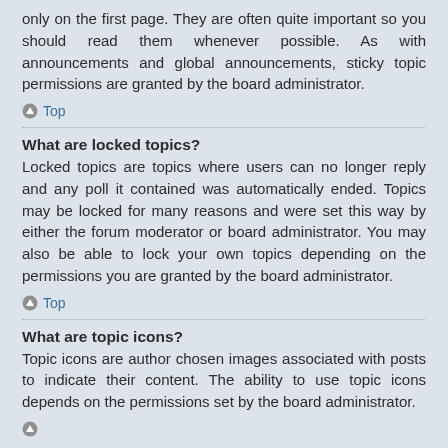only on the first page. They are often quite important so you should read them whenever possible. As with announcements and global announcements, sticky topic permissions are granted by the board administrator.
Top
What are locked topics?
Locked topics are topics where users can no longer reply and any poll it contained was automatically ended. Topics may be locked for many reasons and were set this way by either the forum moderator or board administrator. You may also be able to lock your own topics depending on the permissions you are granted by the board administrator.
Top
What are topic icons?
Topic icons are author chosen images associated with posts to indicate their content. The ability to use topic icons depends on the permissions set by the board administrator.
Top